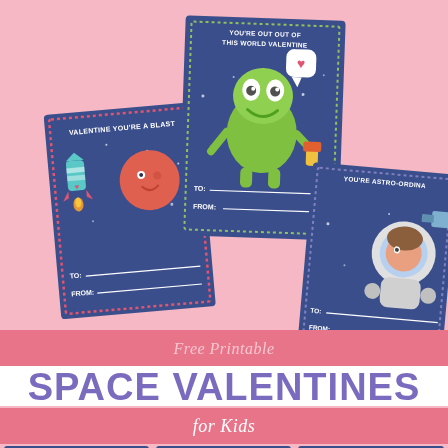[Figure (illustration): Three space-themed Valentine's Day cards on a pink background. Left card: blue background with rocket ship and planet, text 'VALENTINE YOU'RE A BLAST', TO: and FROM: fields. Center card: blue background with green alien holding a heart speech bubble, text 'YOU'RE OUT OF THIS WORLD VALENTINE', TO: and FROM: fields. Right card: blue background with female astronaut, text 'YOU'RE ASTRO-ORDINA...', TO: and FROM: fields.]
Free Printable
SPACE VALENTINES
for Kids
[Figure (illustration): Bottom portion showing more space valentine cards. Left card shows 'YOUR FRIEND SHIP IS INTERSTELLAR'. Middle card partially visible. Right card shows 'I AM OVER THE MOON FOR YOU VALENTINE'.]